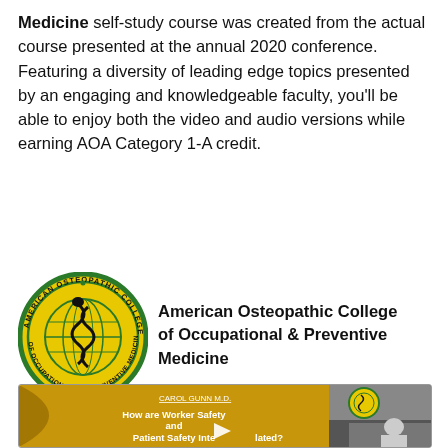Medicine self-study course was created from the actual course presented at the annual 2020 conference. Featuring a diversity of leading edge topics presented by an engaging and knowledgeable faculty, you'll be able to enjoy both the video and audio versions while earning AOA Category 1-A credit.
[Figure (logo): American Osteopathic College of Occupational and Preventive Medicine circular logo with snake/caduceus on globe]
American Osteopathic College of Occupational & Preventive Medicine
[Figure (screenshot): Video thumbnail showing Carol Gunn MD presentation slide titled 'How are Worker Safety and Patient Safety Interrelated?' on golden/amber background with play button, and small inset video of speaker]